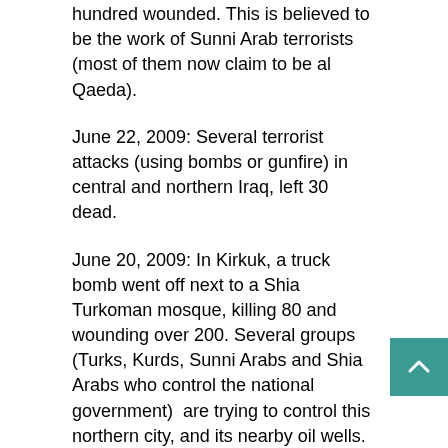hundred wounded. This is believed to be the work of Sunni Arab terrorists (most of them now claim to be al Qaeda).
June 22, 2009: Several terrorist attacks (using bombs or gunfire) in central and northern Iraq, left 30 dead.
June 20, 2009: In Kirkuk, a truck bomb went off next to a Shia Turkoman mosque, killing 80 and wounding over 200. Several groups (Turks, Kurds, Sunni Arabs and Shia Arabs who control the national government)  are trying to control this northern city, and its nearby oil wells. Attacking a mosque really inflames popular anger. Sunni Arab terrorists have long been bombing mosques, in order to trigger a civil war between the various ethnic (Kurds, Turks and Arabs) and religious (mainly Shia and Sunni Moslems) groups. This tactic failed before, and continues to fail. These